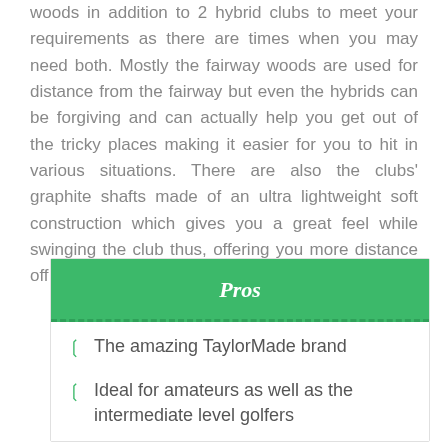woods in addition to 2 hybrid clubs to meet your requirements as there are times when you may need both. Mostly the fairway woods are used for distance from the fairway but even the hybrids can be forgiving and can actually help you get out of the tricky places making it easier for you to hit in various situations. There are also the clubs' graphite shafts made of an ultra lightweight soft construction which gives you a great feel while swinging the club thus, offering you more distance off the tee and fairways.
Pros
The amazing TaylorMade brand
Ideal for amateurs as well as the intermediate level golfers